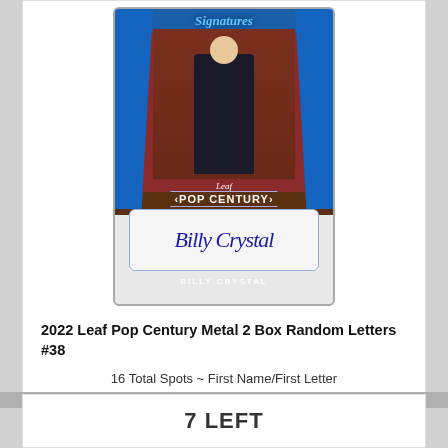[Figure (photo): 2022 Leaf Pop Century trading card showing Billy Crystal in a suit against a brick wall background with blue curtains, with a signature panel at the bottom]
2022 Leaf Pop Century Metal 2 Box Random Letters #38
16 Total Spots ~ First Name/First Letter
$34.95
2
7 LEFT